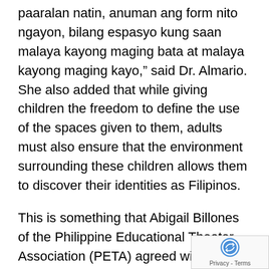paaralan natin, anuman ang form nito ngayon, bilang espasyo kung saan malaya kayong maging bata at malaya kayong maging kayo,” said Dr. Almario. She also added that while giving children the freedom to define the use of the spaces given to them, adults must also ensure that the environment surrounding these children allows them to discover their identities as Filipinos.
This is something that Abigail Billones of the Philippine Educational Theater Association (PETA) agreed with. Establishing their identity and purpose are factors that will aid the youth as they transition from being children to adults. She explained through the perspective of PETA that creative expression for children is very valuable as this allows them to “rehearse life.” Doing theater gives the youth the avenue to portray varying characters and enables them to recognize to whom or to what they to—establishing both a sense of belonging and pur…